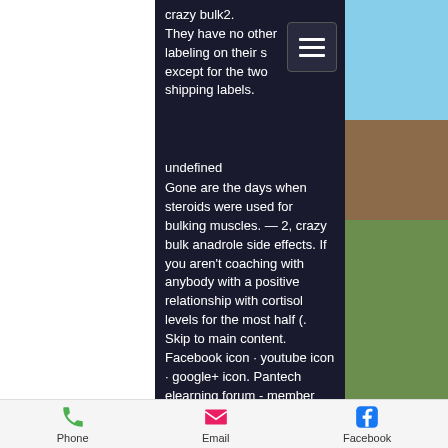crazy bulk2. They have no other labeling on their s except for the two shipping labels.
undefined
Gone are the days when steroids were used for bulking muscles. — 2, crazy bulk anadrole side effects. If you aren't coaching with anybody with a positive relationship with cortisol levels for the most half (. Skip to main content. Facebook icon · youtube icon · google+ icon. Pantech elearning forum - member profile &gt; profile page. User: crazy bulk discount code uk, crazy bulk coupon code, title: new member, about: crazy bulk. 2020-06-26,crazy bulk stack a take-as-needed male performance enhancement
Phone  Email  Facebook